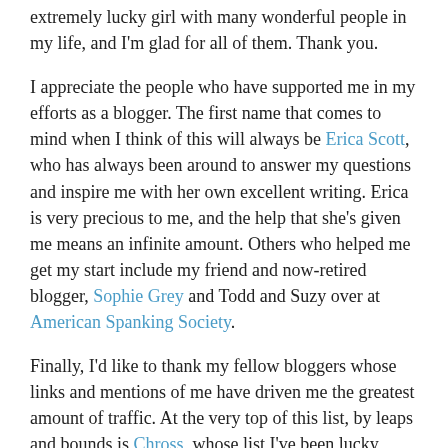extremely lucky girl with many wonderful people in my life, and I'm glad for all of them. Thank you.
I appreciate the people who have supported me in my efforts as a blogger. The first name that comes to mind when I think of this will always be Erica Scott, who has always been around to answer my questions and inspire me with her own excellent writing. Erica is very precious to me, and the help that she's given me means an infinite amount. Others who helped me get my start include my friend and now-retired blogger, Sophie Grey and Todd and Suzy over at American Spanking Society.
Finally, I'd like to thank my fellow bloggers whose links and mentions of me have driven me the greatest amount of traffic. At the very top of this list, by leaps and bounds is Chross, whose list I've been lucky enough to be featured on a number of times. Bonnie at My Bottom Smarts has also been a huge contributor of traffic (and support!) since the very start of my blog. All Things Spanking and Spanking Blog have been a huge help, as well.
Finally, thank you. Whoever you are, reading this, since without your readership, my blog is pretty pointless. You make my day. 🙂
I can't stop stressing how happy this makes me. Back over the